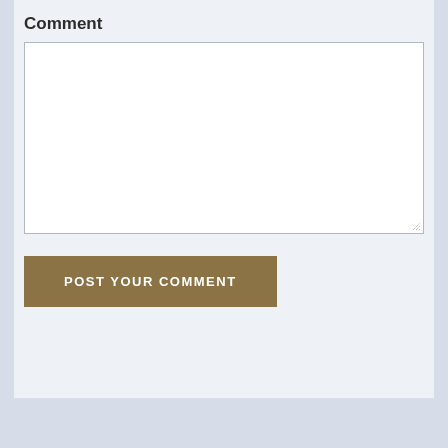Comment
[Figure (screenshot): Empty text area input field with white background and gray border, with a resize handle in the bottom right corner]
POST YOUR COMMENT